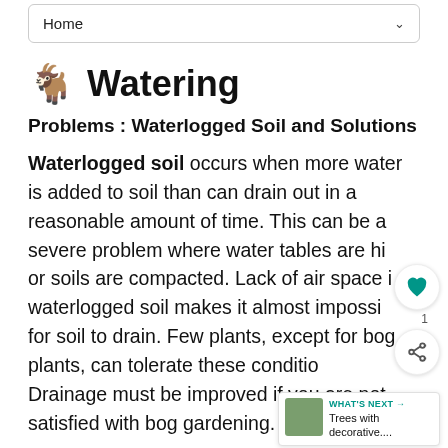Home
Watering
Problems : Waterlogged Soil and Solutions
Waterlogged soil occurs when more water is added to soil than can drain out in a reasonable amount of time. This can be a severe problem where water tables are high or soils are compacted. Lack of air space in waterlogged soil makes it almost impossible for soil to drain. Few plants, except for bog plants, can tolerate these conditions. Drainage must be improved if you are not satisfied with bog gardening. Over-watered